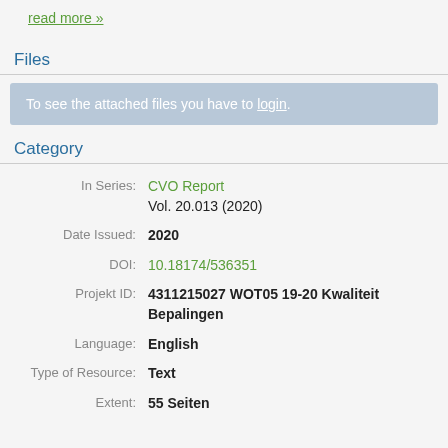read more »
Files
To see the attached files you have to login.
Category
| Label | Value |
| --- | --- |
| In Series: | CVO Report
Vol. 20.013 (2020) |
| Date Issued: | 2020 |
| DOI: | 10.18174/536351 |
| Projekt ID: | 4311215027 WOT05 19-20 Kwaliteit Bepalingen |
| Language: | English |
| Type of Resource: | Text |
| Extent: | 55 Seiten |